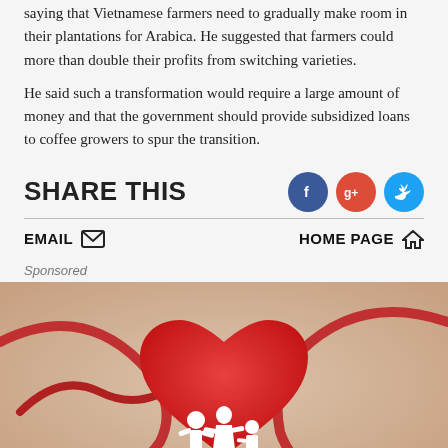saying that Vietnamese farmers need to gradually make room in their plantations for Arabica. He suggested that farmers could more than double their profits from switching varieties.
He said such a transformation would require a large amount of money and that the government should provide subsidized loans to coffee growers to spur the transition.
SHARE THIS
[Figure (infographic): Social share icons: Facebook (blue circle with f), Google+ (red circle with g+), Twitter (blue circle with bird)]
EMAIL  HOME PAGE
Sponsored
[Figure (photo): A red heart shape with white paper cut-out family figures holding hands in front, with a stethoscope in the background on a warm beige surface.]